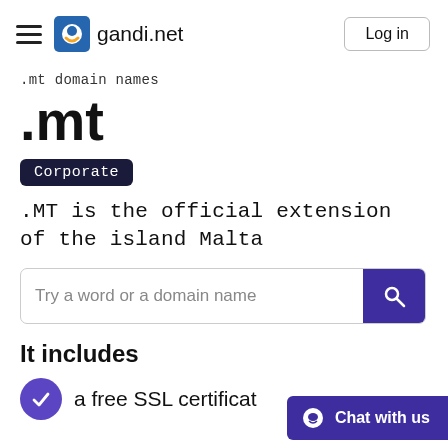gandi.net — Log in
.mt domain names
.mt
Corporate
.MT is the official extension of the island Malta
Try a word or a domain name
It includes
a free SSL certificat